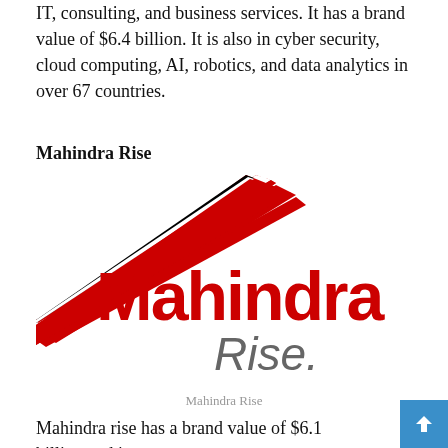IT, consulting, and business services. It has a brand value of $6.4 billion. It is also in cyber security, cloud computing, AI, robotics, and data analytics in over 67 countries.
Mahindra Rise
[Figure (logo): Mahindra Rise logo featuring a red angular wing/arrow shape above the word 'Mahindra' in large bold red text and 'Rise.' in gray italic text below]
Mahindra Rise
Mahindra rise has a brand value of $6.1 billion and is